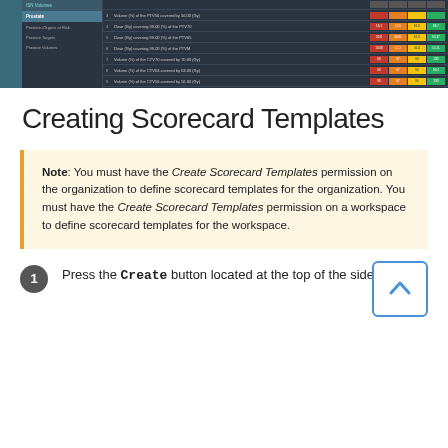[Figure (screenshot): Screenshot of a scorecard application showing a dark-themed table with rows of radiation dose/volume metrics and colored score cells (red, orange, yellow, green).]
Creating Scorecard Templates
Note: You must have the Create Scorecard Templates permission on the organization to define scorecard templates for the organization. You must have the Create Scorecard Templates permission on a workspace to define scorecard templates for the workspace.
Press the Create button located at the top of the sidebar.